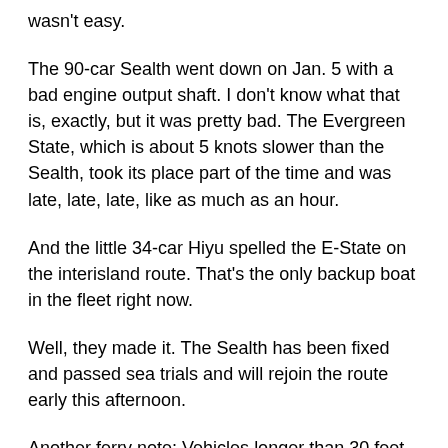wasn't easy.
The 90-car Sealth went down on Jan. 5 with a bad engine output shaft. I don't know what that is, exactly, but it was pretty bad. The Evergreen State, which is about 5 knots slower than the Sealth, took its place part of the time and was late, late, late, like as much as an hour.
And the little 34-car Hiyu spelled the E-State on the interisland route. That's the only backup boat in the fleet right now.
Well, they made it. The Sealth has been fixed and passed sea trials and will rejoin the route early this afternoon.
Another ferry note: Vehicles longer than 30 feet won't be allowed on the Port Townsend-Keystone route